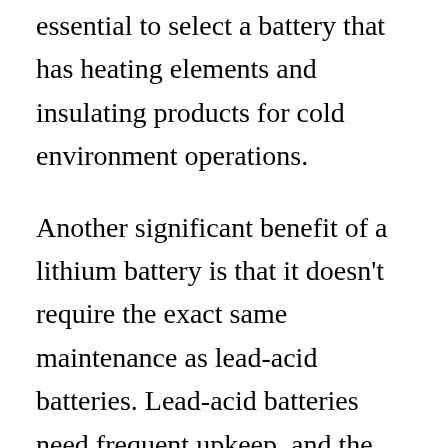essential to select a battery that has heating elements and insulating products for cold environment operations.
Another significant benefit of a lithium battery is that it doesn't require the exact same maintenance as lead-acid batteries. Lead-acid batteries need frequent upkeep, and the job of swapping a 3,000-lb. battery is dangerous, requiring specialized training and devices. Lead-acid batteries need to be charged frequently to prevent spills, and the process likewise produces hazardous fumes. In addition, the lead-acid battery requires specialized ventilation. Lithium